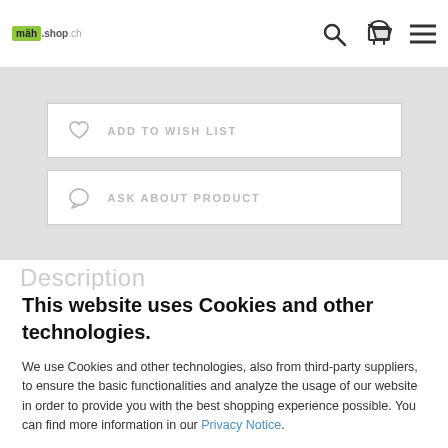mäh.shop.ch header with logo, search, cart, and menu icons
[Figure (screenshot): Add to Wish List and Ask About Product buttons on gray background]
Description
This website uses Cookies and other technologies.
We use Cookies and other technologies, also from third-party suppliers, to ensure the basic functionalities and analyze the usage of our website in order to provide you with the best shopping experience possible. You can find more information in our Privacy Notice.
Accept all
More information